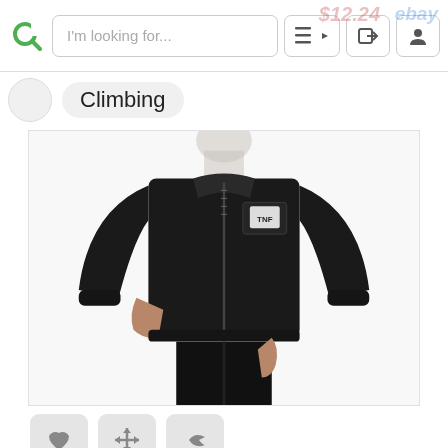I'm looking for...
Climbing
[Figure (photo): Man wearing The North Face Apex Bionic Soft Shell Jacket in black, shown from torso down to knees against a white background]
[Figure (infographic): Row of three action buttons: heart/favorite, move/drag, and share icons on light gray rounded square backgrounds]
[Figure (infographic): Social media icons row: Facebook, Twitter, Google+, Pinterest]
The North Face Apex Bionic Soft Shell Jacket By The North Face
[Figure (infographic): Star rating: 4 filled stars and 1 half star in gold/yellow, with eBay logo in multicolor on the right]